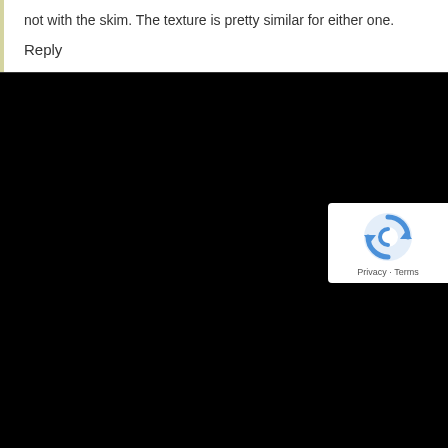not with the skim. The texture is pretty similar for either one.
Reply
[Figure (logo): Google reCAPTCHA badge with circular arrow logo and Privacy - Terms text]